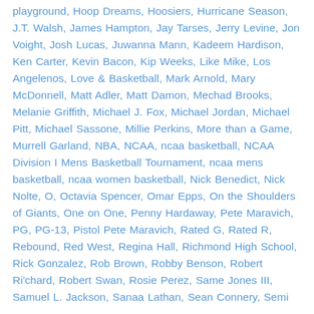playground, Hoop Dreams, Hoosiers, Hurricane Season, J.T. Walsh, James Hampton, Jay Tarses, Jerry Levine, Jon Voight, Josh Lucas, Juwanna Mann, Kadeem Hardison, Ken Carter, Kevin Bacon, Kip Weeks, Like Mike, Los Angelenos, Love & Basketball, Mark Arnold, Mary McDonnell, Matt Adler, Matt Damon, Mechad Brooks, Melanie Griffith, Michael J. Fox, Michael Jordan, Michael Pitt, Michael Sassone, Millie Perkins, More than a Game, Murrell Garland, NBA, NCAA, ncaa basketball, NCAA Division I Mens Basketball Tournament, ncaa mens basketball, ncaa women basketball, Nick Benedict, Nick Nolte, O, Octavia Spencer, Omar Epps, On the Shoulders of Giants, One on One, Penny Hardaway, Pete Maravich, PG, PG-13, Pistol Pete Maravich, Rated G, Rated R, Rebound, Red West, Regina Hall, Richmond High School, Rick Gonzalez, Rob Brown, Robby Benson, Robert Ri'chard, Robert Swan, Rosie Perez, Same Jones III, Samuel L. Jackson, Sanaa Lathan, Sean Connery, Semi